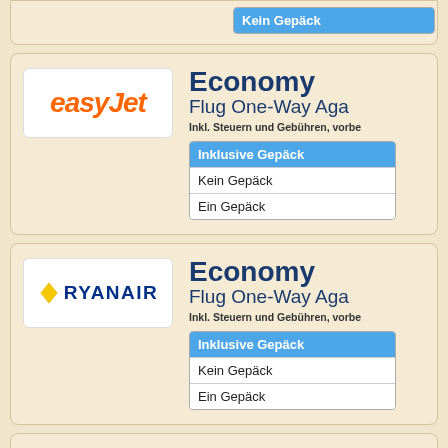[Figure (logo): Kein Gepäck dropdown item at top of page (partial card)]
[Figure (logo): easyJet logo in orange italic bold text]
Economy
Flug One-Way Aga
Inkl. Steuern und Gebühren, vorbe
| Inklusive Gepäck |
| --- |
| Kein Gepäck |
| Ein Gepäck |
[Figure (logo): Ryanair logo with yellow diamond and dark blue text]
Economy
Flug One-Way Aga
Inkl. Steuern und Gebühren, vorbe
| Inklusive Gepäck |
| --- |
| Kein Gepäck |
| Ein Gepäck |
[Figure (logo): Ryanair logo with yellow diamond and dark blue text (third card, partial)]
Economy
Flug One-Way Aga